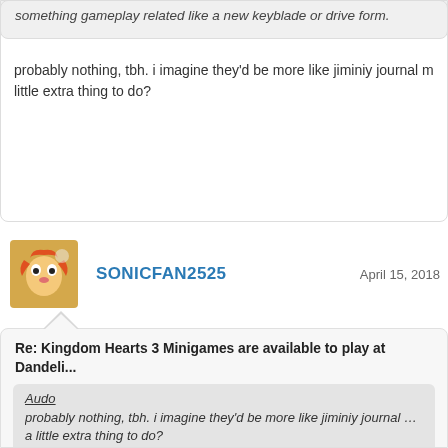something gameplay related like a new keyblade or drive form.
probably nothing, tbh. i imagine they'd be more like jiminiy journal m... little extra thing to do?
SONICFAN2525
April 15, 2018
Re: Kingdom Hearts 3 Minigames are available to play at Dandeli...
Audo
probably nothing, tbh. i imagine they'd be more like jiminiy journal ... a little extra thing to do?
This is what I was thinking. I think it'll be similar to the stickers from K... some new synthesis materials and maybe a new ability or two, but th...